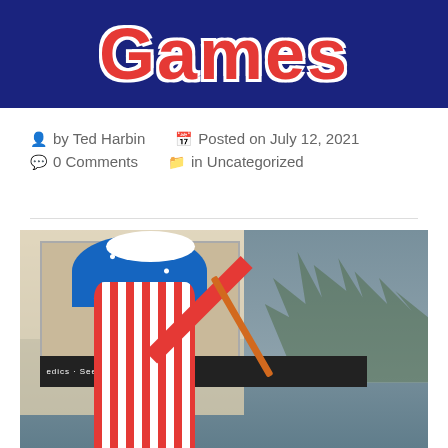[Figure (photo): Website header banner with dark blue background and partial red logo text visible]
by Ted Harbin   Posted on July 12, 2021   0 Comments   in Uncategorized
[Figure (photo): A performer dressed as a patriotic clown in red-white-and-blue American flag costume with white hat, performing a juggling act at an outdoor event, tossing a prop in the air. Crowd and large screen visible in background with mountains.]